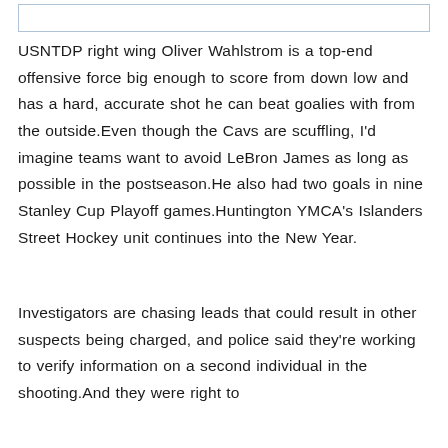USNTDP right wing Oliver Wahlstrom is a top-end offensive force big enough to score from down low and has a hard, accurate shot he can beat goalies with from the outside.Even though the Cavs are scuffling, I'd imagine teams want to avoid LeBron James as long as possible in the postseason.He also had two goals in nine Stanley Cup Playoff games.Huntington YMCA's Islanders Street Hockey unit continues into the New Year.
Investigators are chasing leads that could result in other suspects being charged, and police said they're working to verify information on a second individual in the shooting.And they were right to